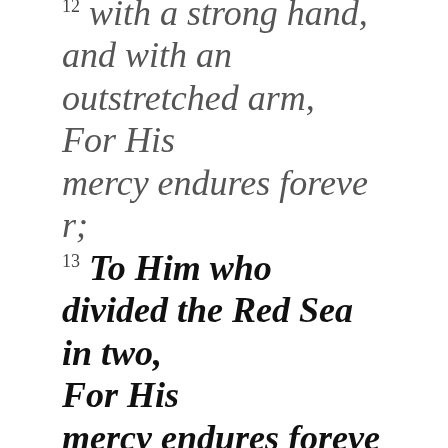12 with a strong hand, and with an outstretched arm, For His mercy endures forever; 13 To Him who divided the Red Sea in two, For His mercy endures forever; 14 And made Israel pass through the